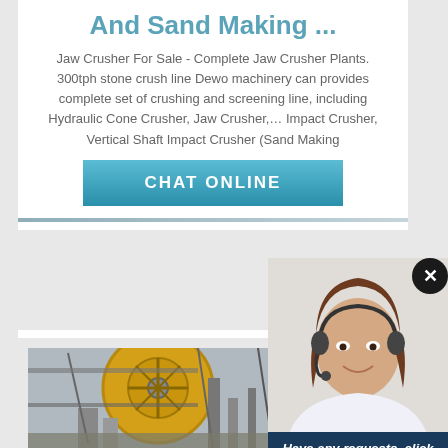And Sand Making ...
Jaw Crusher For Sale - Complete Jaw Crusher Plants. 300tph stone crush line Dewo machinery can provides complete set of crushing and screening line, including Hydraulic Cone Crusher, Jaw Crusher,… Impact Crusher, Vertical Shaft Impact Crusher (Sand Making
[Figure (screenshot): Blue gradient CHAT ONLINE button]
[Figure (photo): Industrial machinery with large yellow and grey circular grinding/crushing equipment]
[Figure (photo): Customer service agent woman with headset smiling]
Have any requests, click here.
Quotation
Enquiry
limingjlmofen@sina.com